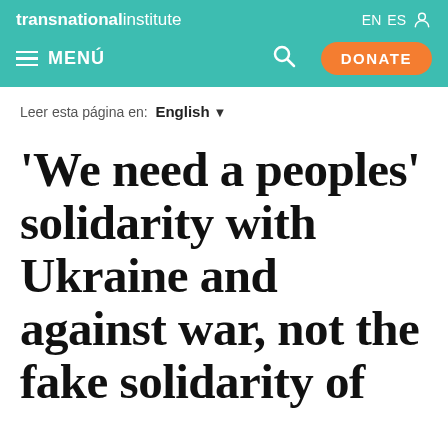transnationalinstitute  EN  ES
MENÚ  DONATE
Leer esta página en: English
'We need a peoples' solidarity with Ukraine and against war, not the fake solidarity of